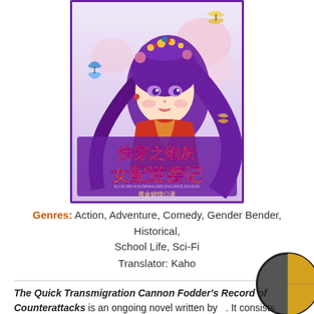[Figure (illustration): Book cover of a Chinese light novel featuring an anime-style girl with purple hair and traditional Chinese decorative headdress, wearing a red outfit. Large Chinese characters on the cover read: 快穿之炮灰 女配逆袭记. Author name in smaller text at bottom.]
Genres: Action, Adventure, Comedy, Gender Bender, Historical, School Life, Sci-Fi
Translator: Kaho
The Quick Transmigration Cannon Fodder's Record of Counterattacks is an ongoing novel written by . It consists